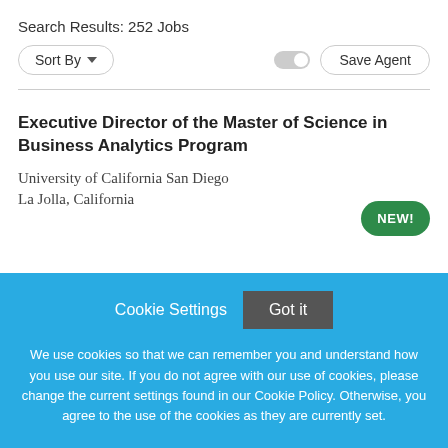Search Results: 252 Jobs
Sort By
Save Agent
Executive Director of the Master of Science in Business Analytics Program
University of California San Diego
La Jolla, California
NEW!
Cookie Settings
Got it
We use cookies so that we can remember you and understand how you use our site. If you do not agree with our use of cookies, please change the current settings found in our Cookie Policy. Otherwise, you agree to the use of the cookies as they are currently set.